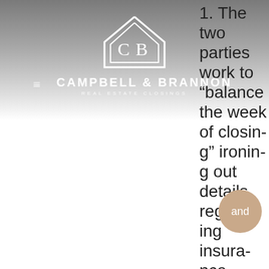[Figure (logo): Campbell & Brannon Real Estate Closings logo with house outline and CB monogram on gray gradient banner]
1. The two parties work to "balance the week of closing" ironing out details regarding insurance, taxes, escrow and more.